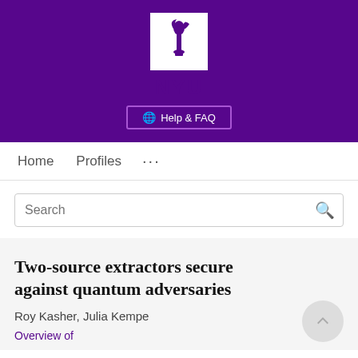[Figure (logo): NYU (New York University) logo: white box with purple torch icon above NYU wordmark in white on purple background, with Help & FAQ button below]
Home   Profiles   ...
Search
Two-source extractors secure against quantum adversaries
Roy Kasher, Julia Kempe
Overview of